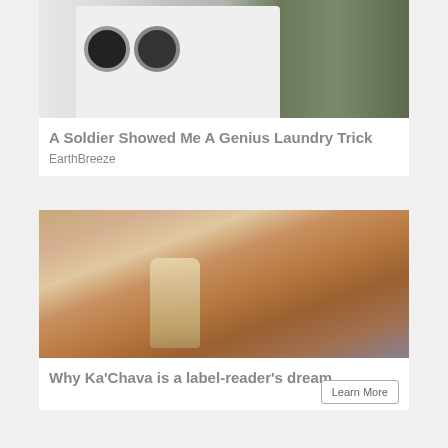[Figure (photo): Photo of washing machines in a laundromat with a soldier in camouflage uniform standing to the right]
A Soldier Showed Me A Genius Laundry Trick
EarthBreeze
[Figure (photo): Photo of a woman with long blonde hair drinking from a glass jar containing a brown smoothie-like beverage]
Why Ka'Chava is a label-reader's dream
Learn More